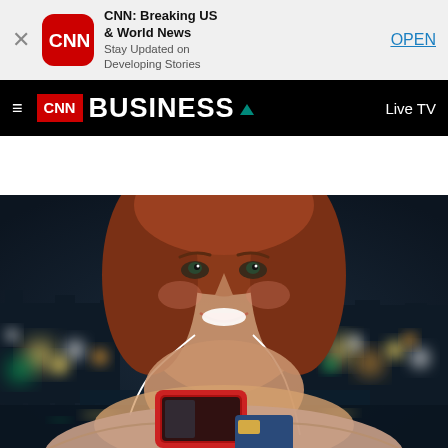[Figure (screenshot): CNN app store banner with CNN red logo icon, app name 'CNN: Breaking US & World News', subtitle 'Stay Updated on Developing Stories', and an OPEN link. Close X button on left.]
[Figure (screenshot): CNN Business navigation bar with hamburger menu, CNN red box logo, BUSINESS text in white, green triangle accent, and Live TV on right.]
[Figure (photo): A smiling young woman with red hair holding a red smartphone and wearing white earbuds, photographed at night with blurred city lights in background (bokeh effect), holding what appears to be a credit card.]